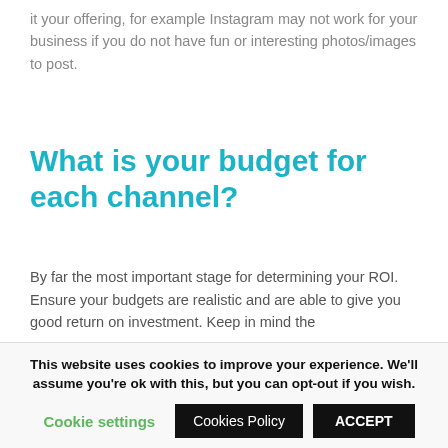it your offering, for example Instagram may not work for your business if you do not have fun or interesting photos/images to post.
What is your budget for each channel?
By far the most important stage for determining your ROI. Ensure your budgets are realistic and are able to give you good return on investment. Keep in mind the
This website uses cookies to improve your experience. We'll assume you're ok with this, but you can opt-out if you wish.
Cookie settings  Cookies Policy  ACCEPT